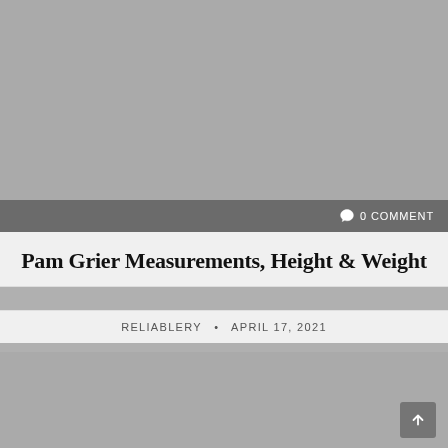[Figure (photo): Gray placeholder image area at the top of the page]
0 COMMENT
Pam Grier Measurements, Height & Weight
RELIABLERY • APRIL 17, 2021
[Figure (photo): Gray placeholder image area at the bottom of the page]